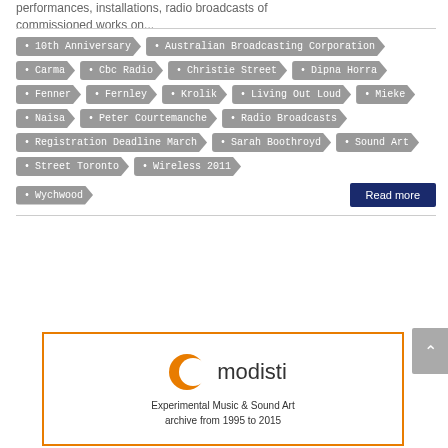performances, installations, radio broadcasts of commissioned works on...
10th Anniversary
Australian Broadcasting Corporation
Carma
Cbc Radio
Christie Street
Dipna Horra
Fenner
Fernley
Krolik
Living Out Loud
Mieke
Naisa
Peter Courtemanche
Radio Broadcasts
Registration Deadline March
Sarah Boothroyd
Sound Art
Street Toronto
Wireless 2011
Wychwood
Read more
[Figure (logo): Cmodisti logo - orange crescent C with 'modisti' text]
Experimental Music & Sound Art archive from 1995 to 2015